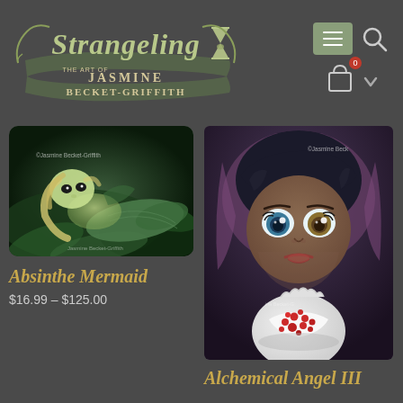[Figure (logo): Strangeling - The Art of Jasmine Becket-Griffith logo with hourglass and decorative script]
[Figure (screenshot): Navigation icons: hamburger menu button, search icon, shopping cart with 0 badge, dropdown arrow]
[Figure (photo): Absinthe Mermaid - painting of a green mermaid lying among dark green foliage, by Jasmine Becket-Griffith]
Absinthe Mermaid
$16.99 – $125.00
[Figure (photo): Alchemical Angel III - painting of a big-eyed dark-haired girl holding a white pomegranate, by Jasmine Becket-Griffith]
Alchemical Angel III